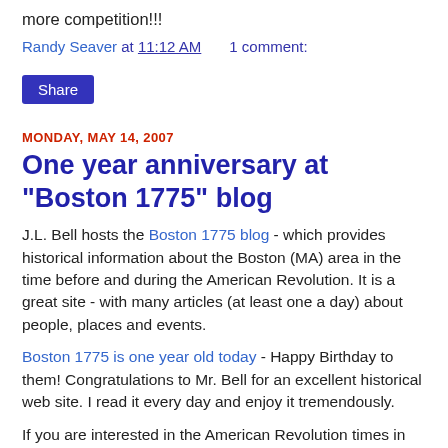more competition!!!
Randy Seaver at 11:12 AM    1 comment:
Share
MONDAY, MAY 14, 2007
One year anniversary at "Boston 1775" blog
J.L. Bell hosts the Boston 1775 blog - which provides historical information about the Boston (MA) area in the time before and during the American Revolution. It is a great site - with many articles (at least one a day) about people, places and events.
Boston 1775 is one year old today - Happy Birthday to them! Congratulations to Mr. Bell for an excellent historical web site. I read it every day and enjoy it tremendously.
If you are interested in the American Revolution times in New